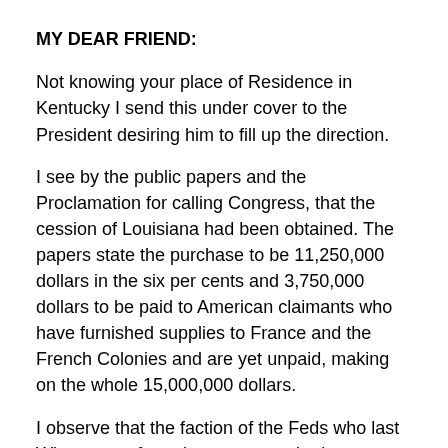MY DEAR FRIEND:
Not knowing your place of Residence in Kentucky I send this under cover to the President desiring him to fill up the direction.
I see by the public papers and the Proclamation for calling Congress, that the cession of Louisiana had been obtained. The papers state the purchase to be 11,250,000 dollars in the six per cents and 3,750,000 dollars to be paid to American claimants who have furnished supplies to France and the French Colonies and are yet unpaid, making on the whole 15,000,000 dollars.
I observe that the faction of the Feds who last Winter were for going to war to obtain possession of that country and who attached so much importance to it that no expense or risk ought to be spared to obtain it, have now altered their tone and say it is not worth having, and that we are better without it than with it. The ground for this inconsist...